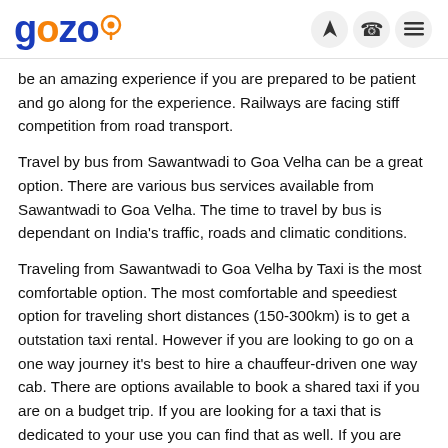gozo
be an amazing experience if you are prepared to be patient and go along for the experience. Railways are facing stiff competition from road transport.
Travel by bus from Sawantwadi to Goa Velha can be a great option. There are various bus services available from Sawantwadi to Goa Velha. The time to travel by bus is dependant on India's traffic, roads and climatic conditions.
Traveling from Sawantwadi to Goa Velha by Taxi is the most comfortable option. The most comfortable and speediest option for traveling short distances (150-300km) is to get a outstation taxi rental. However if you are looking to go on a one way journey it's best to hire a chauffeur-driven one way cab. There are options available to book a shared taxi if you are on a budget trip. If you are looking for a taxi that is dedicated to your use you can find that as well. If you are keen on an